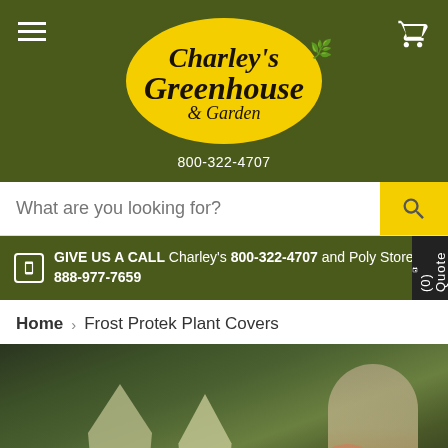[Figure (logo): Charley's Greenhouse & Garden yellow oval logo with decorative script text and bee illustration]
800-322-4707
What are you looking for?
GIVE US A CALL Charley's 800-322-4707 and Poly Store 888-977-7659
Home > Frost Protek Plant Covers
[Figure (photo): Woman with hanging baskets of red flowers covered with Frost Protek plant covers outside a building]